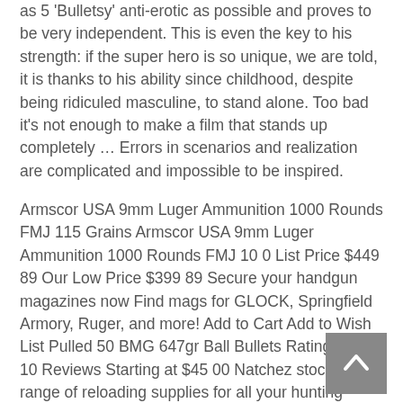as 5 'Bulletsy' anti-erotic as possible and proves to be very independent. This is even the key to his strength: if the super hero is so unique, we are told, it is thanks to his ability since childhood, despite being ridiculed masculine, to stand alone. Too bad it's not enough to make a film that stands up completely … Errors in scenarios and realization are complicated and impossible to be inspired.
Armscor USA 9mm Luger Ammunition 1000 Rounds FMJ 115 Grains Armscor USA 9mm Luger Ammunition 1000 Rounds FMJ 10 0 List Price $449 89 Our Low Price $399 89 Secure your handgun magazines now Find mags for GLOCK, Springfield Armory, Ruger, and more! Add to Cart Add to Wish List Pulled 50 BMG 647gr Ball Bullets Rating: 100% 10 Reviews Starting at $45 00 Natchez stocks a full range of reloading supplies for all your hunting needs Whether you're looking for a specific brand or caliber of bullets, we have you covered Sh